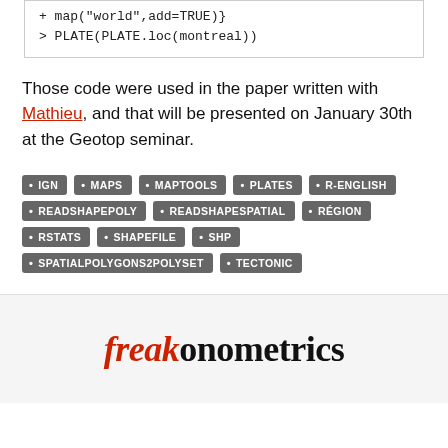+ map("world",add=TRUE)}
> PLATE(PLATE.loc(montreal))
Those code were used in the paper written with Mathieu, and that will be presented on January 30th at the Geotop seminar.
IGN, MAPS, MAPTOOLS, PLATES, R-ENGLISH, READSHAPEPOLY, READSHAPESPATIAL, RÉGION, RSTATS, SHAPEFILE, SHP, SPATIALPOLYGONS2POLYSET, TECTONIC
freakonometrics